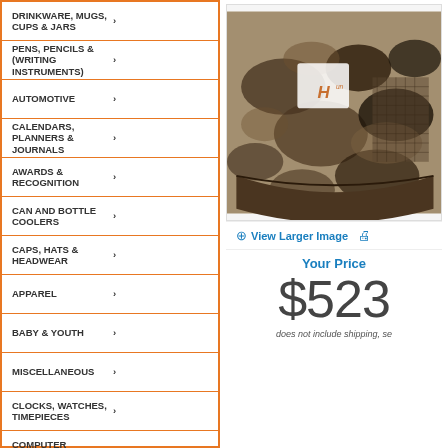DRINKWARE, MUGS, CUPS & JARS
PENS, PENCILS & (WRITING INSTRUMENTS)
AUTOMOTIVE
CALENDARS, PLANNERS & JOURNALS
AWARDS & RECOGNITION
CAN AND BOTTLE COOLERS
CAPS, HATS & HEADWEAR
APPAREL
BABY & YOUTH
MISCELLANEOUS
CLOCKS, WATCHES, TIMEPIECES
COMPUTER ACCESSORIES
DESKTOP & OFFICE ESSENTIALS
KEY TAGS
ELECTRONICS & GADGETS
FIRST AID, HEALTH & SAFETY MEDICAL
[Figure (photo): A camouflage cap/hat with a logo on it, showing forest/camo pattern]
View Larger Image
Your Price
$523
does not include shipping, se